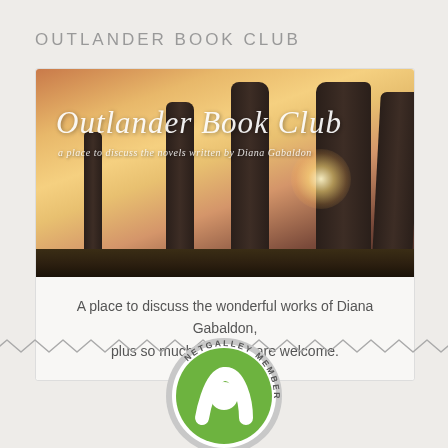OUTLANDER BOOK CLUB
[Figure (illustration): Outlander Book Club banner image showing standing stones at sunset with italic script text 'Outlander Book Club' and subtitle 'a place to discuss the novels written by Diana Gabaldon']
A place to discuss the wonderful works of Diana Gabaldon, plus so much more! All are welcome.
[Figure (logo): NetGalley Member badge - circular green and grey badge with text 'NETGALLEY MEMBER' around the edge]